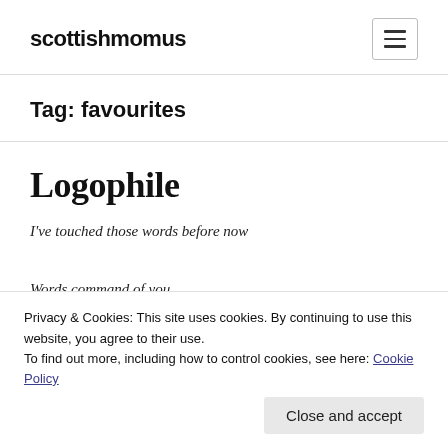scottishmomus
Tag: favourites
Logophile
I've touched those words before now
Privacy & Cookies: This site uses cookies. By continuing to use this website, you agree to their use. To find out more, including how to control cookies, see here: Cookie Policy
Close and accept
Words command of you,